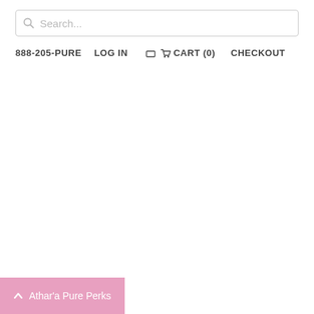[Figure (screenshot): Search bar with magnifying glass icon and placeholder text 'Search...']
888-205-PURE   LOG IN   CART (0)   CHECKOUT
[Figure (screenshot): Athar'a Pure Perks button at bottom left with chevron up icon]